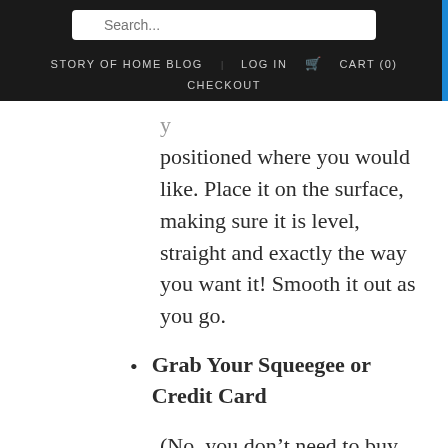Search... | STORY OF HOME BLOG | LOG IN | CART (0) | CHECKOUT
positioned where you would like. Place it on the surface, making sure it is level, straight and exactly the way you want it! Smooth it out as you go.
Grab Your Squeegee or Credit Card
(No, you don’t need to buy anything — except for more vinyl wall decals after you see how beautiful this one looks! ;) What you will need is to use a credit card